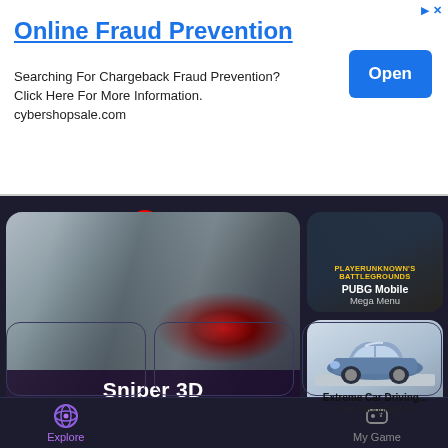[Figure (screenshot): Mobile app store advertisement banner for Online Fraud Prevention service by cybershopsale.com with Open button]
Online Fraud Prevention
Searching For Chargeback Fraud Prevention? Click Here For More Information. cybershopsale.com
[Figure (screenshot): Mobile gaming app store UI showing Sniper 3D (Unlimited Money) as main large card, PUBG Mobile (Mega Menu) and Extreme Car Driving... (Free Shopping/VIP) as smaller cards on right, three empty placeholder cards at bottom, and Explore/My Game navigation bar]
Sniper 3D
Unlimited Money
PUBG Mobile
Mega Menu
Extreme Car Driving...
Free Shopping/VIP
Explore
My Game